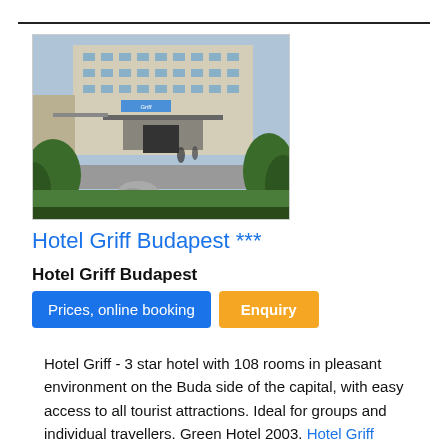[Figure (photo): Exterior photo of Hotel Griff Budapest, showing a multi-story building facade with trees and entrance area]
Hotel Griff Budapest ***
Hotel Griff Budapest
Hotel Griff - 3 star hotel with 108 rooms in pleasant environment on the Buda side of the capital, with easy access to all tourist attractions. Ideal for groups and individual travellers. Green Hotel 2003. Hotel Griff Budapest